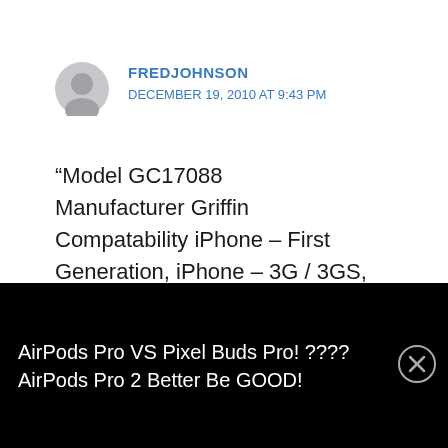[Figure (illustration): Gray circular avatar icon of a generic user silhouette]
FREDJOHNSON
DECEMBER 19, 2010 AT 9:43 PM
“Model GC17088
Manufacturer Griffin
Compatability iPhone – First Generation, iPhone – 3G / 3GS, iPhone 4, iPod Touch 1st Generation, iPod Touch 2nd Generation, iPod Touch 3rd Generation, iPod Touch
AirPods Pro VS Pixel Buds Pro! ???? AirPods Pro 2 Better Be GOOD!